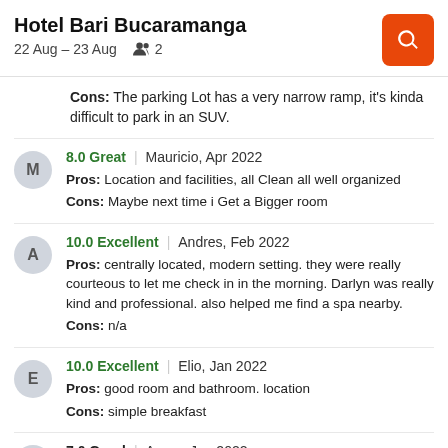Hotel Bari Bucaramanga | 22 Aug – 23 Aug | 2 guests
Cons: The parking Lot has a very narrow ramp, it's kinda difficult to park in an SUV.
8.0 Great | Mauricio, Apr 2022
Pros: Location and facilities, all Clean all well organized
Cons: Maybe next time i Get a Bigger room
10.0 Excellent | Andres, Feb 2022
Pros: centrally located, modern setting. they were really courteous to let me check in in the morning. Darlyn was really kind and professional. also helped me find a spa nearby.
Cons: n/a
10.0 Excellent | Elio, Jan 2022
Pros: good room and bathroom. location
Cons: simple breakfast
7.0 Good | Anuar, Jan 2022
Pros: the location
Cons: the breakfast